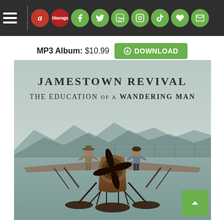Navigation bar with hamburger menu and social media icons: Amazon, Discogs, Facebook, Twitter, YouTube, Instagram, TikTok, Heart, Mail
MP3 Album: $10.99 DOWNLOAD
[Figure (photo): Album cover for Jamestown Revival - The Education of a Wandering Man. Two men standing on top of a seaplane on a body of water with mountains in the background. Text reads: JAMESTOWN REVIVAL / THE EDUCATION OF A WANDERING MAN]